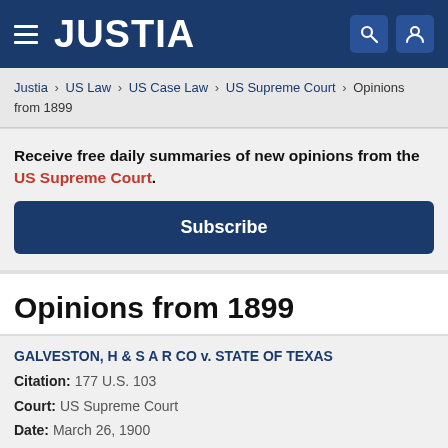JUSTIA
Justia › US Law › US Case Law › US Supreme Court › Opinions from 1899
Receive free daily summaries of new opinions from the US Supreme Court.
Subscribe
Opinions from 1899
GALVESTON, H & S A R CO v. STATE OF TEXAS
Citation: 177 U.S. 103
Court: US Supreme Court
Date: March 26, 1900